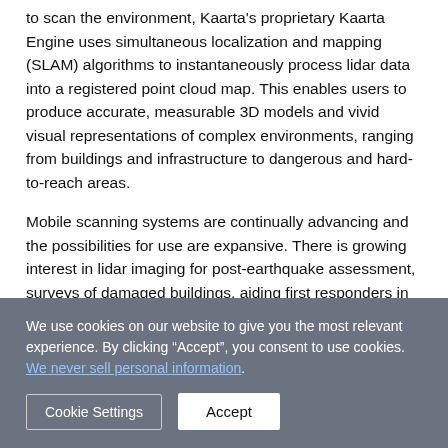to scan the environment, Kaarta's proprietary Kaarta Engine uses simultaneous localization and mapping (SLAM) algorithms to instantaneously process lidar data into a registered point cloud map. This enables users to produce accurate, measurable 3D models and vivid visual representations of complex environments, ranging from buildings and infrastructure to dangerous and hard-to-reach areas.
Mobile scanning systems are continually advancing and the possibilities for use are expansive. There is growing interest in lidar imaging for post-earthquake assessment, surveys of damaged buildings, aiding first responders in emergency situations and more. As the applications and sophistication of
We use cookies on our website to give you the most relevant experience. By clicking “Accept”, you consent to use cookies. We never sell personal information.